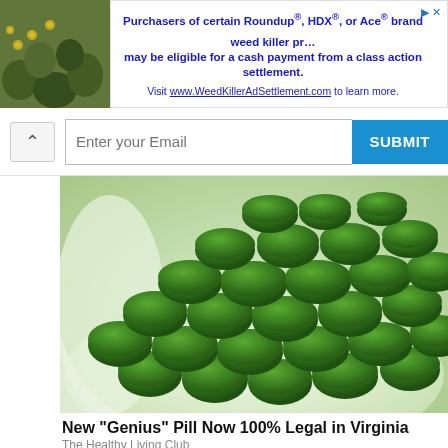[Figure (screenshot): Advertisement banner with plant photo on left and text about Roundup/HDX/Ace brand weed killer class action settlement, with Visit www.WeedKillerAdSettlement.com to learn more]
[Figure (screenshot): Email subscription bar with chevron/back button, email input field, and blue SUBMIT button]
[Figure (photo): Pile of green circular supplement tablets/pills on a white plate with light green background]
New "Genius" Pill Now 100% Legal in Virginia
The Healthy Living Club
[Figure (photo): Bottom portion of a person's face/head with blonde hair against a pink background, partially visible]